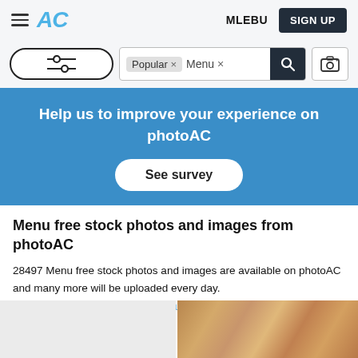AC   MLEBU   SIGN UP
[Figure (screenshot): Search bar with filter button, tags 'Popular x' and 'Menu x', search icon, and camera icon]
Help us to improve your experience on photoAC
See survey
Menu free stock photos and images from photoAC
28497 Menu free stock photos and images are available on photoAC and many more will be uploaded every day.
See more Menu free vector and illustrations and Menu free silhouettes
[Figure (photo): Two partially visible stock photo thumbnails at bottom of page]